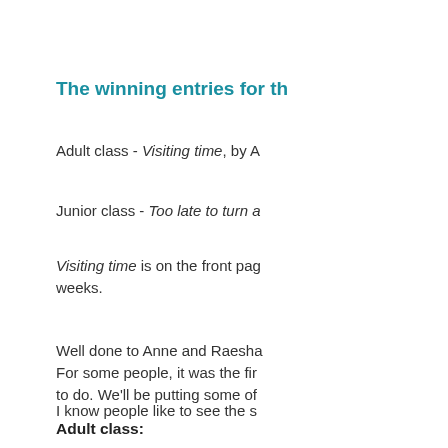The winning entries for th
Adult class - Visiting time, by A
Junior class - Too late to turn a
Visiting time is on the front pag weeks.
Well done to Anne and Raesha For some people, it was the fir to do. We'll be putting some of
I know people like to see the s
Adult class: